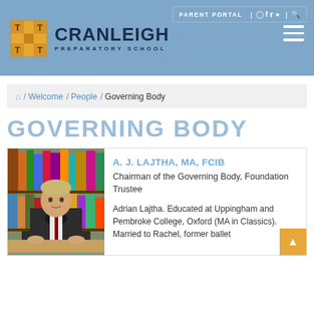[Figure (logo): Cranleigh Preparatory School logo with a gold cross/grid icon and dark navy school name text]
PARENT PORTAL | [instagram] [facebook] [twitter] [bell] | [search]
🏠 / Welcome / People / Governing Body
GOVERNING BODY
[Figure (photo): Portrait photo of A. J. Lajtha, a man in a dark suit with a bookshelf in the background]
A. J. LAJTHA, MA, FCIB
Chairman of the Governing Body, Foundation Trustee
Adrian Lajtha. Educated at Uppingham and Pembroke College, Oxford (MA in Classics). Married to Rachel, former ballet